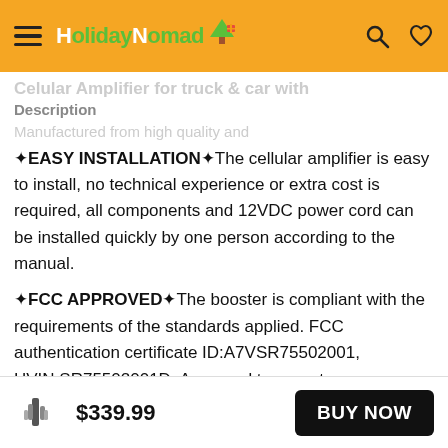HolidayNomad [logo]
Description
✶EASY INSTALLATION✶The cellular amplifier is easy to install, no technical experience or extra cost is required, all components and 12VDC power cord can be installed quickly by one person according to the manual.
✶FCC APPROVED✶The booster is compliant with the requirements of the standards applied. FCC authentication certificate ID:A7VSR75502001, HVIN:SR75502001D. Approved to operate on
$339.99  BUY NOW